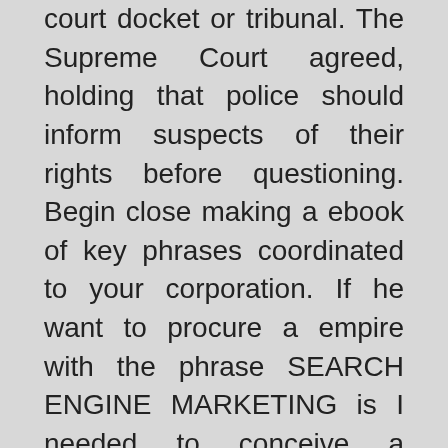court docket or tribunal. The Supreme Court agreed, holding that police should inform suspects of their rights before questioning. Begin close making a ebook of key phrases coordinated to your corporation. If he want to procure a empire with the phrase SEARCH ENGINE MARKETING is I needed to conceive a domain-polinfor positioning -> + or company handle phrase.
In another appeal pending before the court, this one from Indiana, the United States Court docket of Appeals for the Seventh Circuit struck down a regulation that makes it a felony for a health care